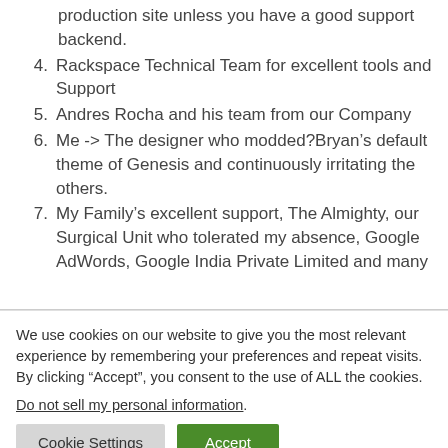production site unless you have a good support backend.
4. Rackspace Technical Team for excellent tools and Support
5. Andres Rocha and his team from our Company
6. Me -> The designer who modded?Bryan’s default theme of Genesis and continuously irritating the others.
7. My Family’s excellent support, The Almighty, our Surgical Unit who tolerated my absence, Google AdWords, Google India Private Limited and many
We use cookies on our website to give you the most relevant experience by remembering your preferences and repeat visits. By clicking “Accept”, you consent to the use of ALL the cookies.
Do not sell my personal information.
Cookie Settings  Accept